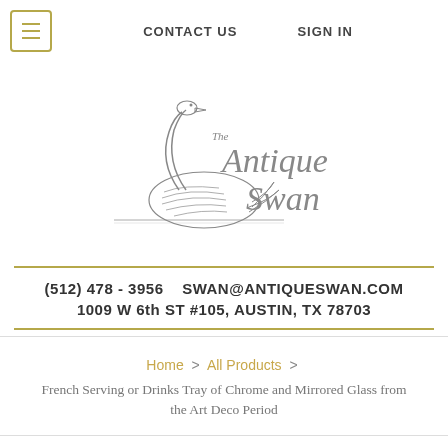CONTACT US   SIGN IN
[Figure (logo): The Antique Swan logo with illustrated swan and decorative text]
(512) 478 - 3956   SWAN@ANTIQUESWAN.COM
1009 W 6th ST #105, AUSTIN, TX 78703
Home > All Products > French Serving or Drinks Tray of Chrome and Mirrored Glass from the Art Deco Period